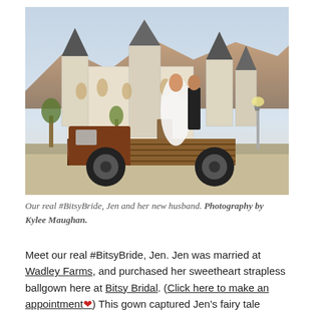[Figure (photo): A bride in a white ballgown and groom in a dark suit standing on the flatbed of a rusty vintage truck, in front of a castle-like venue building with turrets. Mountains visible in the background.]
Our real #BitsyBride, Jen and her new husband. Photography by Kylee Maughan.
Meet our real #BitsyBride, Jen. Jen was married at Wadley Farms, and purchased her sweetheart strapless ballgown here at Bitsy Bridal. (Click here to make an appointment❤) This gown captured Jen's fairy tale